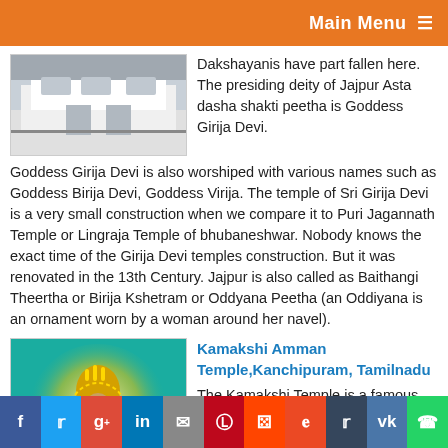Main Menu ☰
[Figure (photo): Photo of a white temple building exterior]
Dakshayanis have part fallen here. The presiding deity of Jajpur Asta dasha shakti peetha is Goddess Girija Devi. Goddess Girija Devi is also worshiped with various names such as Goddess Birija Devi, Goddess Virija. The temple of Sri Girija Devi is a very small construction when we compare it to Puri Jagannath Temple or Lingraja Temple of bhubaneshwar. Nobody knows the exact time of the Girija Devi temples construction. But it was renovated in the 13th Century. Jajpur is also called as Baithangi Theertha or Birija Kshetram or Oddyana Peetha (an Oddiyana is an ornament worn by a woman around her navel).
[Figure (photo): Colorful illustration/photo of Kamakshi Amman goddess seated on throne with golden halo]
Kamakshi Amman Temple,Kanchipuram, Tamilnadu
The Kamakshi Temple is a famous Hindu temple dedicated to Kamakshi, one of the forms of the goddess Parvati. It is located in the historic city of Kanchipuram, near Chennai, India and is popularly
f  t  g+  in  ✉  p  reddit  stumble  t  vk  whatsapp